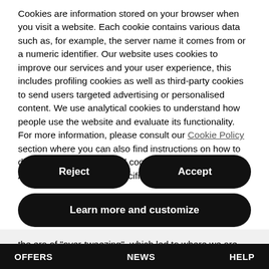Cookies are information stored on your browser when you visit a website. Each cookie contains various data such as, for example, the server name it comes from or a numeric identifier. Our website uses cookies to improve our services and your user experience, this includes profiling cookies as well as third-party cookies to send users targeted advertising or personalised content. We use analytical cookies to understand how people use the website and evaluate its functionality. For more information, please consult our Cookie Policy section where you can also find instructions on how to disable cookies. Accept all cookies by clicking on ACCEPT, or select the specific types you'd like to allow.
Reject
Accept
Learn more and customize
the era of "over-tweezing", which led to where we are today, where everyone takes great care and has one objective: perfection. A natural but super-defined
OFFERS   NEWS   HELP